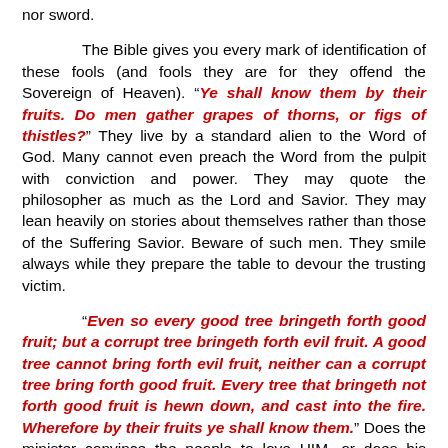nor sword.
The Bible gives you every mark of identification of these fools (and fools they are for they offend the Sovereign of Heaven). "Ye shall know them by their fruits. Do men gather grapes of thorns, or figs of thistles?" They live by a standard alien to the Word of God. Many cannot even preach the Word from the pulpit with conviction and power. They may quote the philosopher as much as the Lord and Savior. They may lean heavily on stories about themselves rather than those of the Suffering Savior. Beware of such men. They smile always while they prepare the table to devour the trusting victim.
"Even so every good tree bringeth forth good fruit; but a corrupt tree bringeth forth evil fruit. A good tree cannot bring forth evil fruit, neither can a corrupt tree bring forth good fruit. Every tree that bringeth not forth good fruit is hewn down, and cast into the fire. Wherefore by their fruits ye shall know them." Does the minister convince the people to love HIM, or does his preaching evoke love for the Savior whom he pretends to